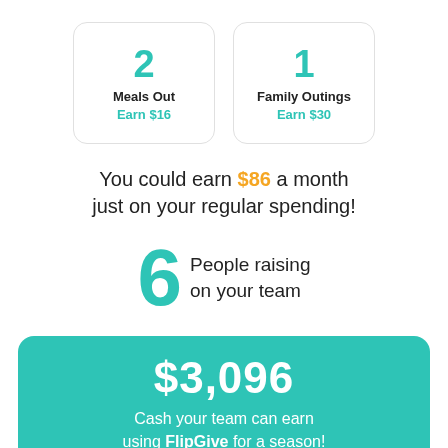[Figure (infographic): Two cards side by side: left card shows '2 Meals Out Earn $16', right card shows '1 Family Outings Earn $30']
You could earn $86 a month just on your regular spending!
[Figure (infographic): Large teal '6' numeral with text 'People raising on your team']
$3,096 Cash your team can earn using FlipGive for a season!